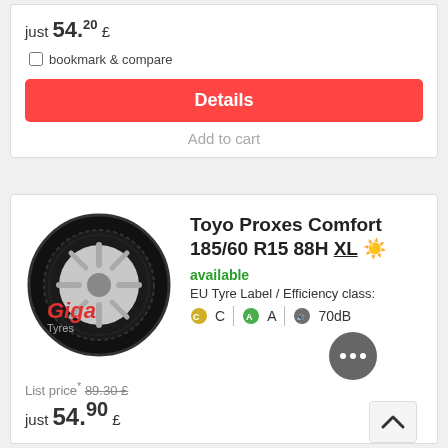just 54.20 £
bookmark & compare
Details
Add to cart
Toyo Proxes Comfort 185/60 R15 88H XL
available
EU Tyre Label / Efficiency class:
C  A  70dB
List price* 89.30 £
just 54.90 £